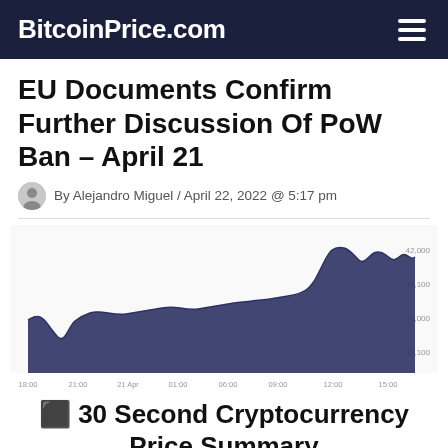BitcoinPrice.com
EU Documents Confirm Further Discussion Of PoW Ban – April 21
By Alejandro Miguel / April 22, 2022 @ 5:17 pm
[Figure (continuous-plot): Bitcoin price area chart showing price movement from 18:00 on April 21 to 15:00 on April 22, with price ranging approximately from 40,100 to 42,000. The chart shows a general upward trend with the price rising sharply in the later hours. Y-axis labels: 42,000, 41,100, 41,000, 40,100. X-axis labels: 18:00, 21:00, 21 Apr, 01:00, 06:00, 09:00, 12:00, 15:00.]
⬛ 30 Second Cryptocurrency Price Summary